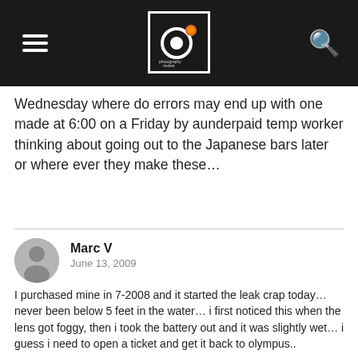Photography Review navigation bar with hamburger menu, logo, and search icon
Wednesday where do errors may end up with one made at 6:00 on a Friday by aunderpaid temp worker thinking about going out to the Japanese bars later or where ever they make these…
Marc V
June 13, 2009
I purchased mine in 7-2008 and it started the leak crap today… never been below 5 feet in the water… i first noticed this when the lens got foggy, then i took the battery out and it was slightly wet… i guess i need to open a ticket and get it back to olympus..

reading these reports here makes me wonder if its not a design flaw with the battery door. I have always thought the camera took lackluster images, but just like most it was the ability to use it underwater that made it for me.